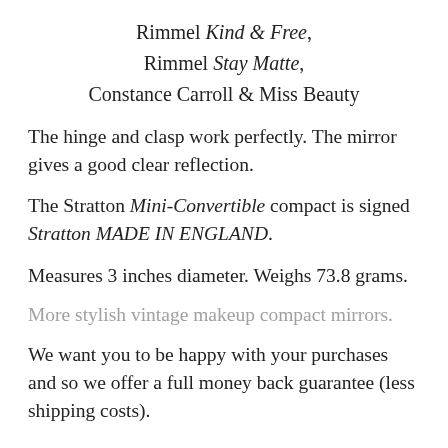Rimmel Kind & Free,
Rimmel Stay Matte,
Constance Carroll & Miss Beauty
The hinge and clasp work perfectly. The mirror gives a good clear reflection.
The Stratton Mini-Convertible compact is signed Stratton MADE IN ENGLAND.
Measures 3 inches diameter. Weighs 73.8 grams.
More stylish vintage makeup compact mirrors.
We want you to be happy with your purchases and so we offer a full money back guarantee (less shipping costs).